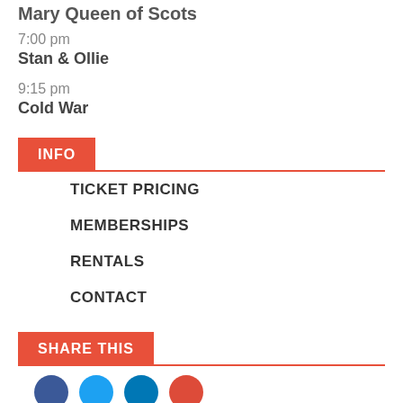Mary Queen of Scots
7:00 pm
Stan & Ollie
9:15 pm
Cold War
INFO
TICKET PRICING
MEMBERSHIPS
RENTALS
CONTACT
SHARE THIS
[Figure (other): Social media share icons: Facebook, Twitter, LinkedIn, Google+]